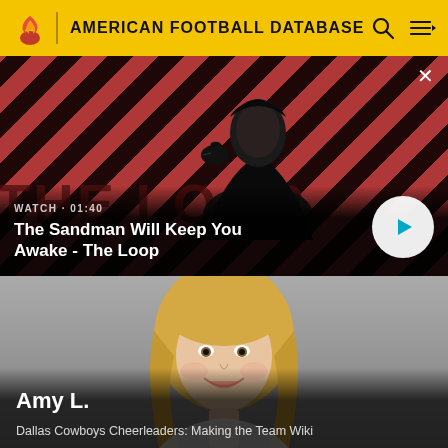AMERICAN FOOTBALL DATABASE
[Figure (screenshot): Video thumbnail for 'The Sandman Will Keep You Awake - The Loop' showing a dark figure with a raven on shoulder against diagonal red/dark stripe background. Label shows WATCH • 01:40 with a play button.]
WATCH • 01:40
The Sandman Will Keep You Awake - The Loop
[Figure (photo): Photo of blonde smiling woman named Amy L. with gray gradient background.]
Amy L.
Dallas Cowboys Cheerleaders: Making the Team Wiki